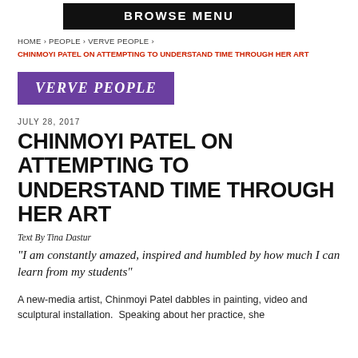BROWSE MENU
HOME › PEOPLE › VERVE PEOPLE ›
CHINMOYI PATEL ON ATTEMPTING TO UNDERSTAND TIME THROUGH HER ART
[Figure (other): VERVE PEOPLE category badge — purple rectangle with white italic bold text]
JULY 28, 2017
CHINMOYI PATEL ON ATTEMPTING TO UNDERSTAND TIME THROUGH HER ART
Text By Tina Dastur
"I am constantly amazed, inspired and humbled by how much I can learn from my students"
A new-media artist, Chinmoyi Patel dabbles in painting, video and sculptural installation.  Speaking about her practice, she